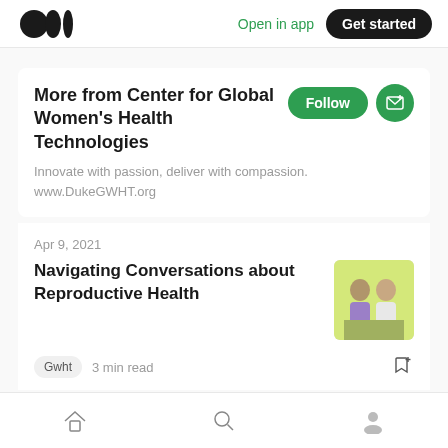Open in app  Get started
More from Center for Global Women's Health Technologies
Innovate with passion, deliver with compassion.
www.DukeGWHT.org
Apr 9, 2021
Navigating Conversations about Reproductive Health
Gwht  3 min read
[Figure (photo): Two people sitting together, one in a purple top and one in a white top, against a yellow/green background]
Home  Search  Profile